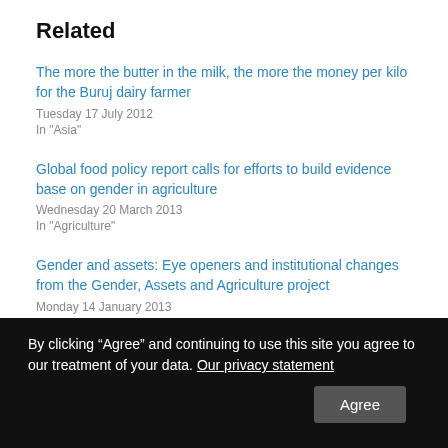Related
The more the butter in the milk, the more the money per kilo for the Buruj dairy farmer
Tuesday 17 July 2012
In "Asia"
Global food policy report calls for efforts to build evidence base on gender in agriculture
Wednesday 20 March 2013
In "Agriculture"
Gender and assets: Eye openers and institutional changes from the Gender, Assets and Agriculture project
Monday 14 January 2013
In "Agriculture"
By clicking “Agree” and continuing to use this site you agree to our treatment of your data. Our privacy statement